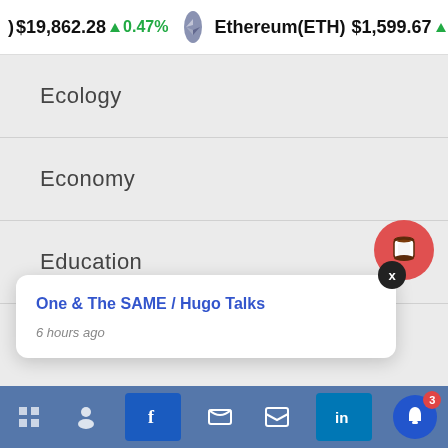$19,862.28 ↑0.47% Ethereum(ETH) $1,599.67 ↑2.41%
Ecology
Economy
Education
Films
Health
One & The SAME / Hugo Talks
6 hours ago